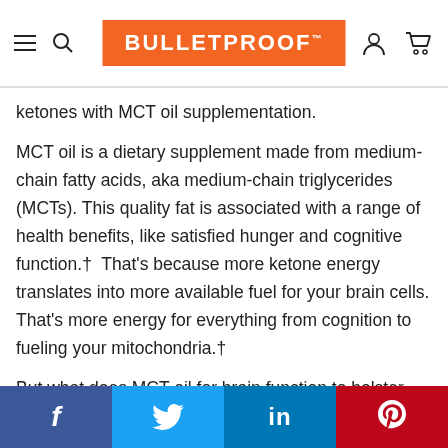BULLETPROOF
ketones with MCT oil supplementation.
MCT oil is a dietary supplement made from medium-chain fatty acids, aka medium-chain triglycerides (MCTs). This quality fat is associated with a range of health benefits, like satisfied hunger and cognitive function.†  That's because more ketone energy translates into more available fuel for your brain cells. That's more energy for everything from cognition to fueling your mitochondria.†
But what does MCT oil for brain function to bolster
f   Twitter   in   Pinterest